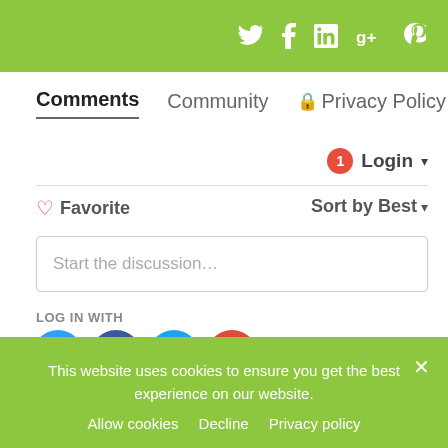[Figure (screenshot): Top green bar with social media icons: Twitter, Facebook, LinkedIn, Google+, Pinterest]
Comments   Community   🔒 Privacy Policy
1  Login ▾
♡ Favorite    Sort by Best ▾
Start the discussion...
LOG IN WITH
[Figure (logo): Social login icons: Disqus (D), Facebook (f), Twitter bird, Google (G)]
This website uses cookies to ensure you get the best experience on our website.
Allow cookies   Decline   Privacy policy